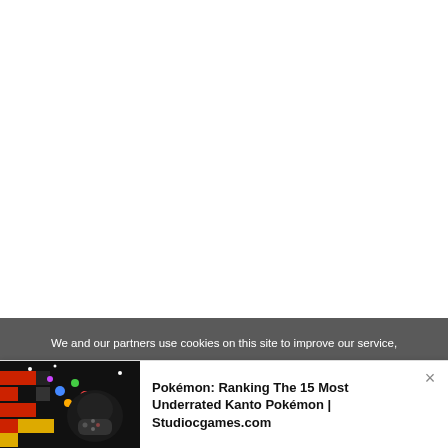[Figure (other): White blank area taking up the top portion of the page]
We and our partners use cookies on this site to improve our service,
[Figure (illustration): Pixel-art style illustration showing a dark creature/character playing video games against a colorful pixel background with red, yellow, and black blocks]
Pokémon: Ranking The 15 Most Underrated Kanto Pokémon | Studiocgames.com